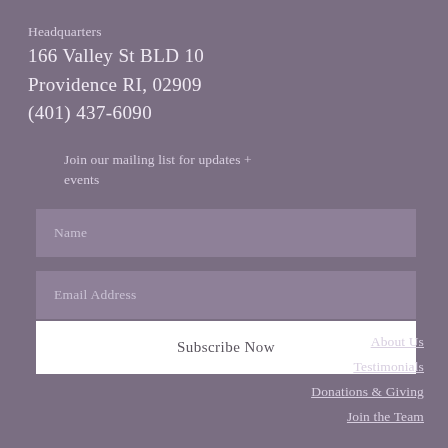Headquarters
166 Valley St BLD 10
Providence RI, 02909
(401) 437-6090
Join our mailing list for updates + events
Name
Email Address
Subscribe Now
About Us
Testimonials
Donations & Giving
Join the Team